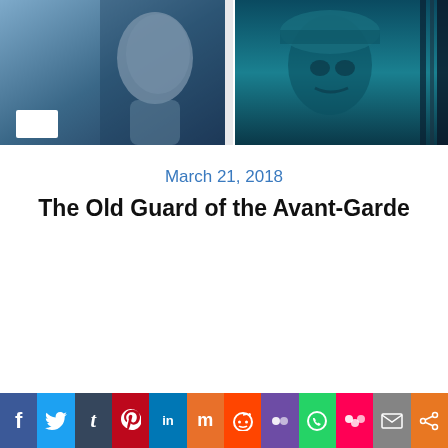[Figure (photo): Two side-by-side film stills or photographs: left shows a woman's profile in blue-tinted monochrome with a white rectangle overlay at bottom-left; right shows a person wearing a head covering in teal/dark tones.]
March 21, 2018
The Old Guard of the Avant-Garde
This website uses cookies to improve your experience. We'll assume you're ok with this, but you can opt-out if you wish.
f  [Twitter]  t  [Pinterest]  in  [Mix]  [Reddit]  [MySpace]  [WhatsApp]  [Meetup]  [Mail]  [Share]